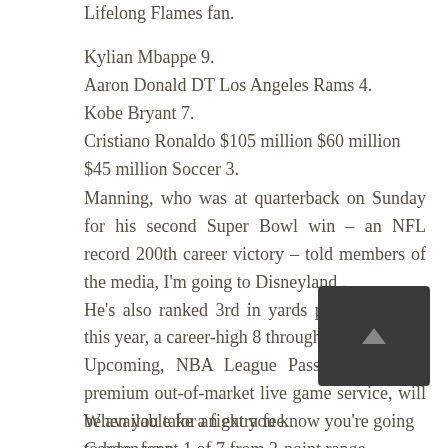Lifelong Flames fan.
Kylian Mbappe 9.
Aaron Donald DT Los Angeles Rams 4.
Kobe Bryant 7.
Cristiano Ronaldo $105 million $60 million $45 million Soccer 3.
Manning, who was at quarterback on Sunday for his second Super Bowl win – an NFL record 200th career victory – told members of the media, I'm going to Disneyland.
He's also ranked 3rd in yards per completion this year, a career-high 8 through seven games.
Upcoming, NBA League Pass, the league's premium out-of-market live game service, will be available for an extra fee.
Gordon went 1 of 7 from 3-point range.
When you take a fight you know you're going to lose, for a